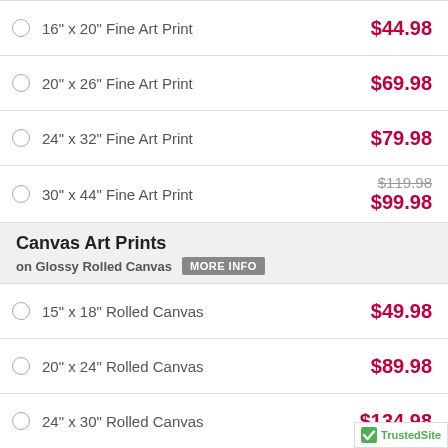16" x 20" Fine Art Print  $44.98
20" x 26" Fine Art Print  $69.98
24" x 32" Fine Art Print  $79.98
30" x 44" Fine Art Print  $119.98 / $99.98
Canvas Art Prints
on Glossy Rolled Canvas  MORE INFO
15" x 18" Rolled Canvas  $49.98
20" x 24" Rolled Canvas  $89.98
24" x 30" Rolled Canvas  $134.98
31" x 44" Rolled Canvas  $219.98 / $199.98
Premium Art Prints
[Figure (logo): TrustedSite badge with green checkmark]